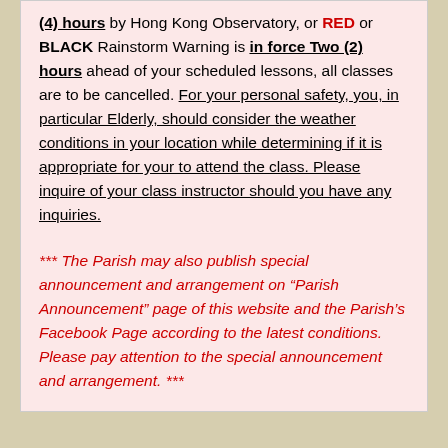(4) hours by Hong Kong Observatory, or RED or BLACK Rainstorm Warning is in force Two (2) hours ahead of your scheduled lessons, all classes are to be cancelled. For your personal safety, you, in particular Elderly, should consider the weather conditions in your location while determining if it is appropriate for your to attend the class. Please inquire of your class instructor should you have any inquiries.
*** The Parish may also publish special announcement and arrangement on “Parish Announcement” page of this website and the Parish’s Facebook Page according to the latest conditions. Please pay attention to the special announcement and arrangement. ***